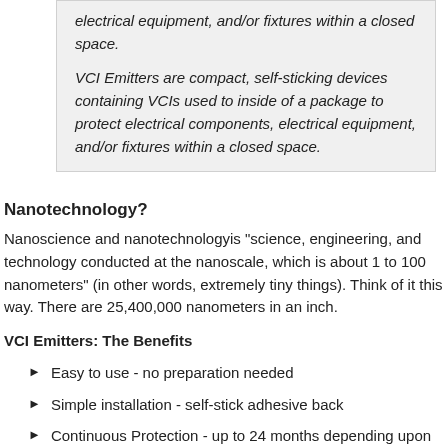electrical equipment, and/or fixtures within a closed space.

VCI Emitters are compact, self-sticking devices containing VCIs used to inside of a package to protect electrical components, electrical equipment, and/or fixtures within a closed space.
Nanotechnology?
Nanoscience and nanotechnologyis "science, engineering, and technology conducted at the nanoscale, which is about 1 to 100 nanometers" (in other words, extremely tiny things). Think of it this way. There are 25,400,000 nanometers in an inch.
VCI Emitters: The Benefits
Easy to use - no preparation needed
Simple installation - self-stick adhesive back
Continuous Protection - up to 24 months depending upon